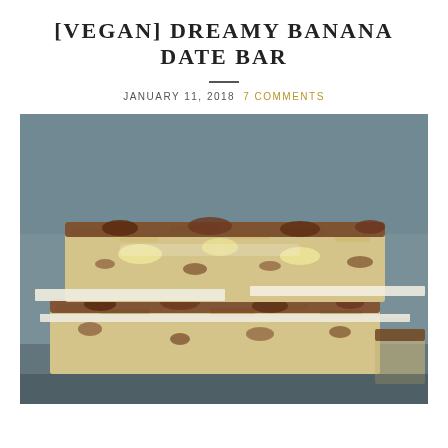[VEGAN] DREAMY BANANA DATE BAR
JANUARY 11, 2018   7 COMMENTS
[Figure (photo): Two stacked banana date oat bars on parchment paper with a dark grey blurred background. The bars show oats, dates, and banana chunks pressed together.]